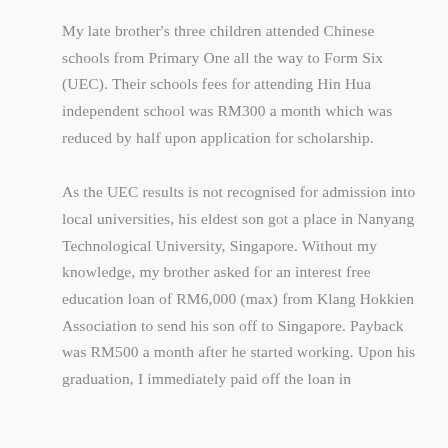My late brother's three children attended Chinese schools from Primary One all the way to Form Six (UEC). Their schools fees for attending Hin Hua independent school was RM300 a month which was reduced by half upon application for scholarship.
As the UEC results is not recognised for admission into local universities, his eldest son got a place in Nanyang Technological University, Singapore. Without my knowledge, my brother asked for an interest free education loan of RM6,000 (max) from Klang Hokkien Association to send his son off to Singapore. Payback was RM500 a month after he started working. Upon his graduation, I immediately paid off the loan in